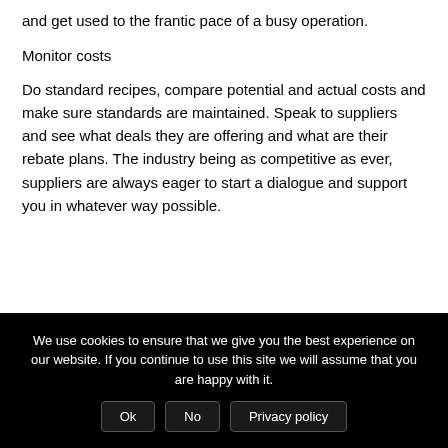and get used to the frantic pace of a busy operation.
Monitor costs
Do standard recipes, compare potential and actual costs and make sure standards are maintained. Speak to suppliers and see what deals they are offering and what are their rebate plans. The industry being as competitive as ever, suppliers are always eager to start a dialogue and support you in whatever way possible.
We use cookies to ensure that we give you the best experience on our website. If you continue to use this site we will assume that you are happy with it.